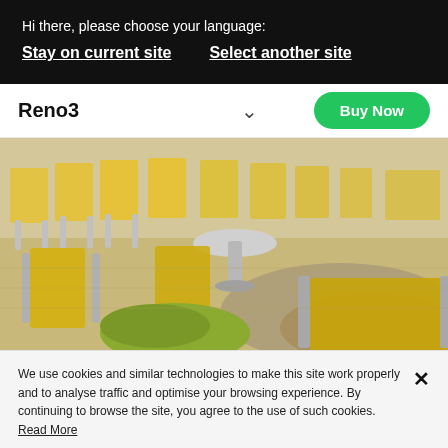Hi there, please choose your language:
Stay on current site    Select another site
Reno3
[Figure (screenshot): Green Buy Now button with rounded corners on white nav bar]
[Figure (photo): Outdoor scene with yellow and silver/grey metal lounge chairs arranged on a patio with gravel and paving stones; a small round table visible in the center]
We use cookies and similar technologies to make this site work properly and to analyse traffic and optimise your browsing experience. By continuing to browse the site, you agree to the use of such cookies. Read More